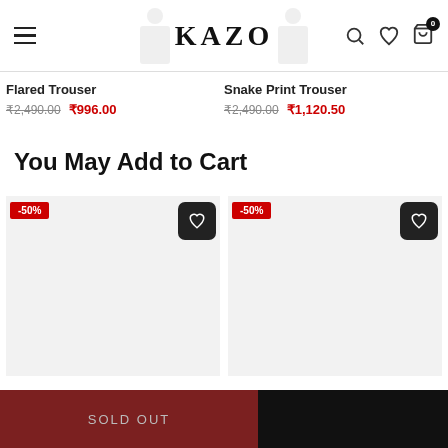KAZO
Flared Trouser
₹2,490.00  ₹996.00
Snake Print Trouser
₹2,490.00  ₹1,120.50
You May Add to Cart
[Figure (screenshot): Two product thumbnail cards with -50% badge and wishlist heart button]
SOLD OUT